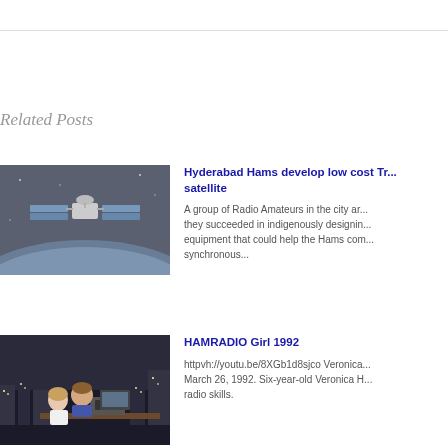Related Posts
[Figure (photo): Satellite orbiting Earth with solar panels extended against dark space background]
Hyderabad Hams develop low cost Tr... satellite
A group of Radio Amateurs in the city ar... they succeeded in indigenously designin... equipment that could help the Hams com... synchronous...
[Figure (photo): Two people at a desk, child and adult, with radio equipment, city lights in background]
HAMRADIO Girl 1992
httpvh://youtu.be/8XGb1d8sjco Veronica... March 26, 1992. Six-year-old Veronica H... radio skills.